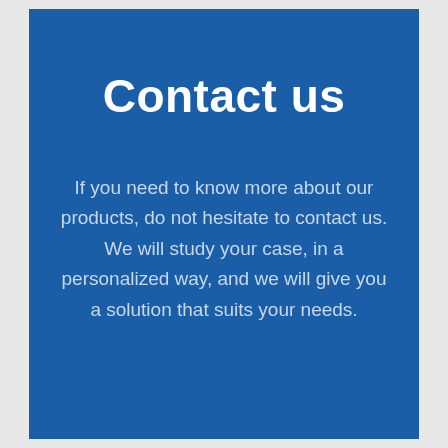Contact us
If you need to know more about our products, do not hesitate to contact us. We will study your case, in a personalized way, and we will give you a solution that suits your needs.